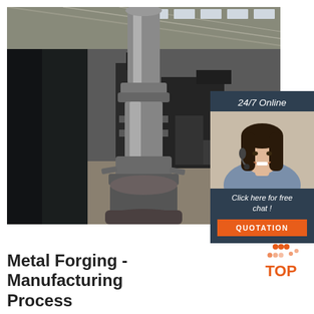[Figure (photo): Industrial metal forging machine in a large factory/workshop setting. Close-up of a vertical forging press ram and die assembly, with heavy industrial equipment visible in the background under a steel-framed roof.]
[Figure (infographic): Chat widget overlay showing '24/7 Online' text, a smiling female customer service representative wearing a headset, 'Click here for free chat!' text, and an orange QUOTATION button, on a dark navy background.]
[Figure (logo): TOP logo: orange/red triangle made of dots above bold orange text reading 'TOP']
Metal Forging - Manufacturing Process